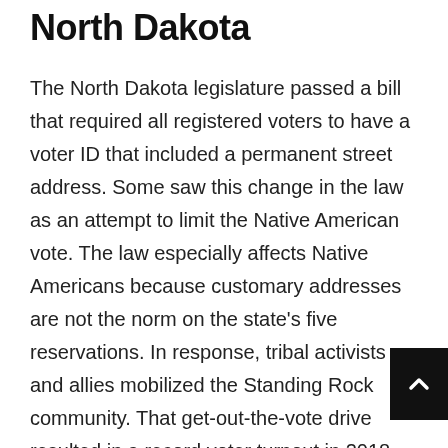North Dakota
The North Dakota legislature passed a bill that required all registered voters to have a voter ID that included a permanent street address. Some saw this change in the law as an attempt to limit the Native American vote. The law especially affects Native Americans because customary addresses are not the norm on the state’s five reservations. In response, tribal activists and allies mobilized the Standing Rock community. That get-out-the-vote drive resulted in a record voter turnout in 2018. See the full Right to Vote file at...